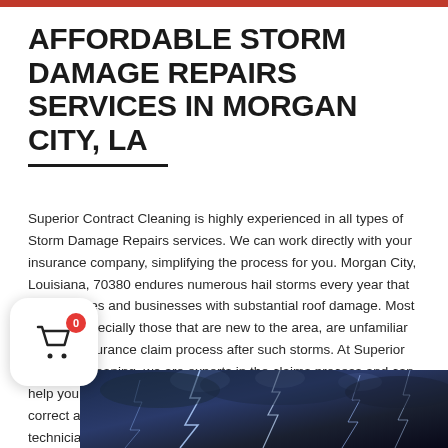AFFORDABLE STORM DAMAGE REPAIRS SERVICES IN MORGAN CITY, LA
Superior Contract Cleaning is highly experienced in all types of Storm Damage Repairs services. We can work directly with your insurance company, simplifying the process for you. Morgan City, Louisiana, 70380 endures numerous hail storms every year that leave homes and businesses with substantial roof damage. Most people, especially those that are new to the area, are unfamiliar with the insurance claim process after such storms. At Superior Contract Cleaning, we are experts in the claims process and can help you make educated decisions involving your claim to get the correct amount for your damages. Call our storm restoration technicians now for more information at (337) 467-
[Figure (photo): Storm lightning photo at bottom of page]